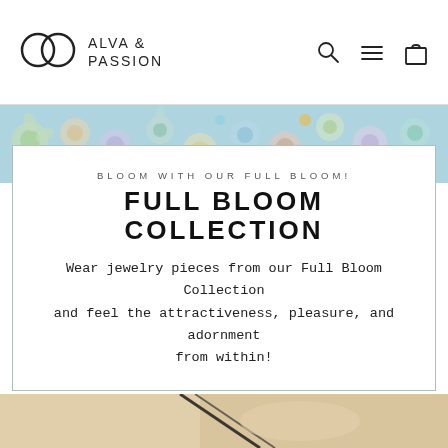[Figure (logo): Alva & Passion logo with two interlocking circles and text ALVA & PASSION]
[Figure (photo): Colorful floral mosaic/tile pattern banner in blues, greens, pinks and yellows]
BLOOM WITH OUR FULL BLOOM! FULL BLOOM COLLECTION
Wear jewelry pieces from our Full Bloom Collection and feel the attractiveness, pleasure, and adornment from within!
Bringing Art to Jewelry
[Figure (photo): Close-up photo of a woman holding a necklace with a black cord, blurred background]